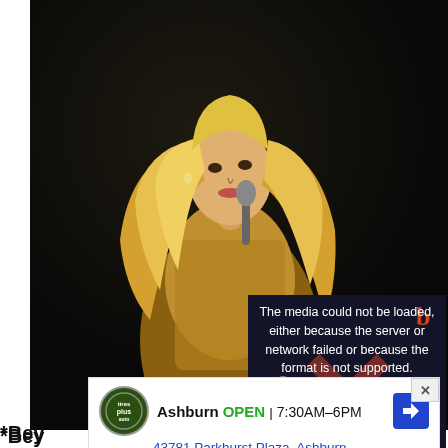[Figure (photo): Woman with long blonde wavy hair wearing a gold/yellow sparkly outfit, holding a microphone, performing on a dark stage. Dark background with stage lighting.]
[Figure (screenshot): Video player error overlay on a dark background showing: 'The media could not be loaded, either because the server or network failed or because the format is not supported.' with a close (X) button in the top right corner and a large X mark overlaid on the video.]
*Beyoncé ... her upcoming ... nth.
[Figure (screenshot): Advertisement overlay: Ashburn OPEN 7:30AM-6PM, 43781 Parkhurst Plaza, Ashburn. Tires Plus Auto logo. Blue navigation arrow icon. Ad close button (X). Play and X icons at the bottom.]